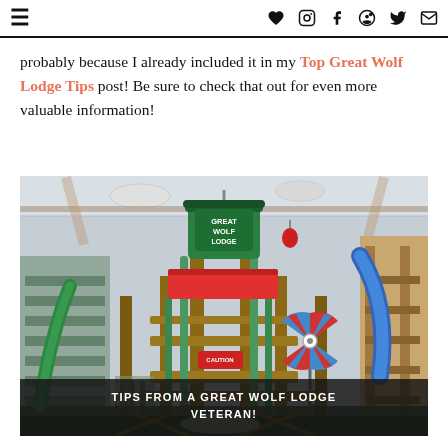≡  ♥ ◎ f ⓟ 𝕏 ✉
probably because I already included it in my Top Great Wolf Lodge Tips post! Be sure to check that out for even more valuable information!
[Figure (photo): Indoor water park structure at Great Wolf Lodge showing multi-level wooden climbing structure with large green bucket labeled 'GREAT WOLF LODGE' at top, red slide platform, colorful pinwheel, pipes, and various play elements inside a large facility]
TIPS FROM A GREAT WOLF LODGE VETERAN!